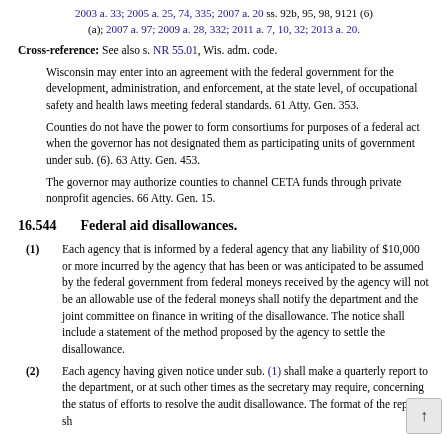2003 a. 33; 2005 a. 25, 74, 335; 2007 a. 20 ss. 92b, 95, 98, 9121 (6)(a); 2007 a. 97; 2009 a. 28, 332; 2011 a. 7, 10, 32; 2013 a. 20.
Cross-reference: See also s. NR 55.01, Wis. adm. code.
Wisconsin may enter into an agreement with the federal government for the development, administration, and enforcement, at the state level, of occupational safety and health laws meeting federal standards. 61 Atty. Gen. 353.
Counties do not have the power to form consortiums for purposes of a federal act when the governor has not designated them as participating units of government under sub. (6). 63 Atty. Gen. 453.
The governor may authorize counties to channel CETA funds through private nonprofit agencies. 66 Atty. Gen. 15.
16.544   Federal aid disallowances.
(1) Each agency that is informed by a federal agency that any liability of $10,000 or more incurred by the agency that has been or was anticipated to be assumed by the federal government from federal moneys received by the agency will not be an allowable use of the federal moneys shall notify the department and the joint committee on finance in writing of the disallowance. The notice shall include a statement of the method proposed by the agency to settle the disallowance.
(2) Each agency having given notice under sub. (1) shall make a quarterly report to the department, or at such other times as the secretary may require, concerning the status of efforts to resolve the audit disallowance. The format of the report sh...